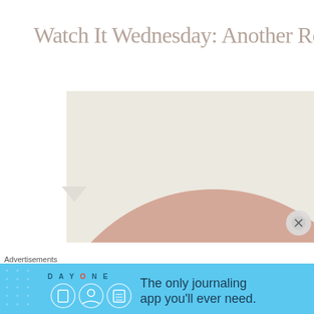Watch It Wednesday: Another Round
[Figure (illustration): Minimalist artwork showing a large dusty rose/mauve circle (partial arc) on a light cream/beige background, cropped so only the upper portion of the circle is visible.]
Advertisements
[Figure (screenshot): Advertisement banner for Day One journaling app on a light blue background. Shows 'D A Y O N E' branding on the left with three circular icons (book, person, notebook), and text on the right reading 'The only journaling app you'll ever need.']